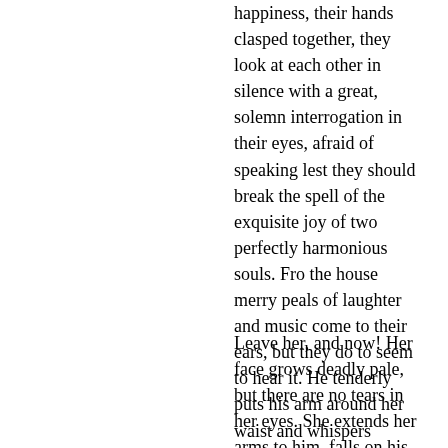happiness, their hands clasped together, they look at each other in silence with a great, solemn interrogation in their eyes, afraid of speaking lest they should break the spell of the exquisite joy of two perfectly harmonious souls. Fro the house merry peals of laughter and music come to their ears, but they do to seem to hear it. He tenderly puts his arm around her waist and whispers words of love, when suddenly he lifts his head and listens. What is it? The air is still, and yet in the far distance a scarcely audible sound is heard, first footsteps of horses, then the clang of armor, and a few moments later a troop of warriors gallops to the house. A dispatch is handed to the bridegroom, which he reads in silence, but by the expression of his facd she guesses that it is a summons to leave her and go with the others to the field of battle.
Leave her, and now! Her face grows deadly pale, but there are no tears in her eyes. She extends her arms to him, falls on his breast, then, making the sign of the cross on his brow, she speaks firmly. “In the name of the Father, of the Son, and the Holy Ghost, go!”